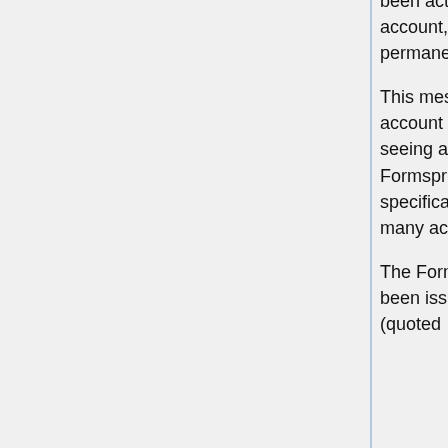been active in over 18 months may be automatically deleted. If this is your account, you may login within the next 24 hours to stop this account from being permanently deleted."
This message is all that is displayed when you attempt to view the profile of an account inactive for over 18 months. (It's unclear what the "24 hours" refers to, seeing as the message is still there even after two months. Of course, with Formspring imminently closing, it's unlikely its administration would bother with specifically deleting any accounts at this point.) Unfortunately, this means that many accounts are already lost.
The Formspring support has been asked about why hasn't a prior warning been issued to the users before January, and provided the following answers (quoted